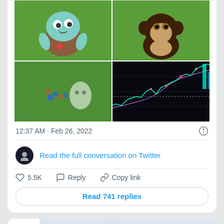[Figure (illustration): 2x2 grid of images: top-left shows a pixelated teal monster/creature NFT on green grass background; top-right shows a cartoon monkey NFT on green grass; bottom-left shows colorful dots/figures on green grass; bottom-right shows a stock/crypto trading chart with neon lines on black background]
12:37 AM · Feb 26, 2022
Read the full conversation on Twitter
♡ 5.5K   Reply   Copy link
Read 741 replies
[Figure (screenshot): Advertisement banner: Listen to Veterans share their inspiring mental health stories. MAKE THE CONNECTION]
Listen to Veterans share their inspiring mental health stories. MAKE THE CONNECTION